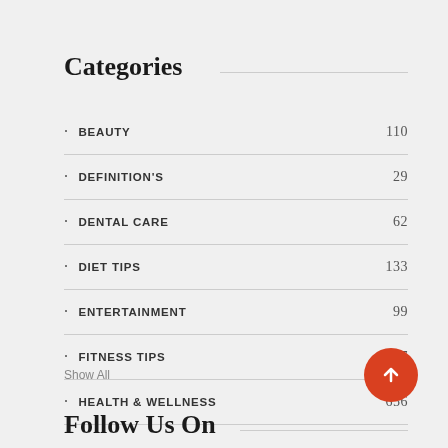Categories
BEAUTY 110
DEFINITION'S 29
DENTAL CARE 62
DIET TIPS 133
ENTERTAINMENT 99
FITNESS TIPS 227
HEALTH & WELLNESS 656
Show All
Follow Us On